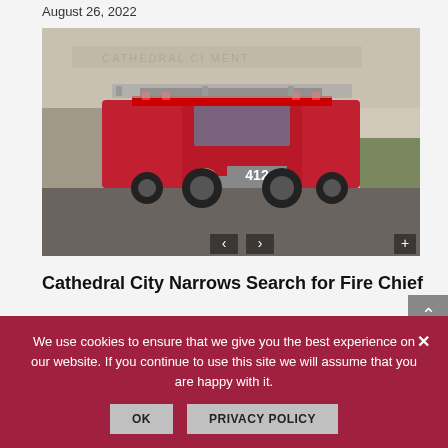August 26, 2022
[Figure (photo): A red fire truck numbered 412 exiting a Cathedral City Fire Department station bay, with lights on.]
Cathedral City Narrows Search for Fire Chief
August 26, 2022
We use cookies to ensure that we give you the best experience on our website. If you continue to use this site we will assume that you are happy with it.
OK   PRIVACY POLICY